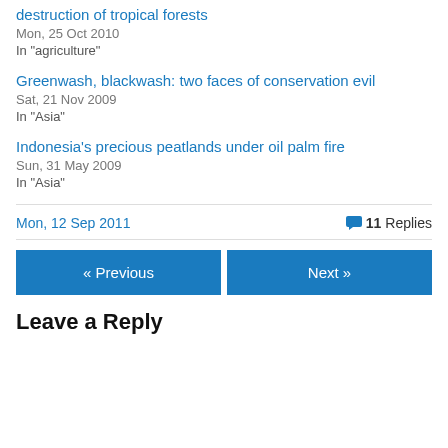destruction of tropical forests
Mon, 25 Oct 2010
In "agriculture"
Greenwash, blackwash: two faces of conservation evil
Sat, 21 Nov 2009
In "Asia"
Indonesia's precious peatlands under oil palm fire
Sun, 31 May 2009
In "Asia"
Mon, 12 Sep 2011    💬 11 Replies
« Previous    Next »
Leave a Reply